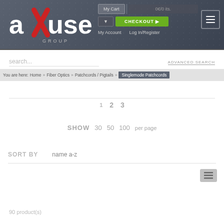[Figure (screenshot): Axuse Group website header with logo, cart, checkout button, My Account and Log In/Register navigation links, and hamburger menu icon]
search...
ADVANCED SEARCH
You are here: Home » Fiber Optics » Patchcords / Pigtails » Singlemode Patchcords
1  2  3
SHOW  30  50  100  per page
SORT BY
name a-z
90 product(s)